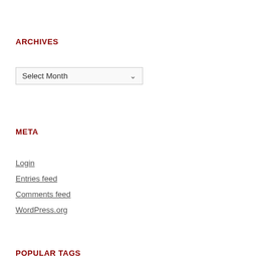ARCHIVES
Select Month
META
Login
Entries feed
Comments feed
WordPress.org
POPULAR TAGS